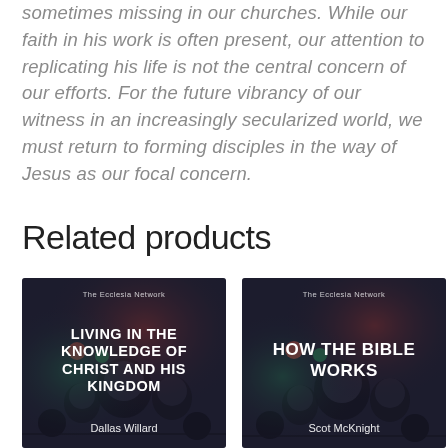sometimes missing in our churches. While our faith in his work is often present, our attention to replicating his life is not the central concern of our efforts. For the future vibrancy of our witness in an increasingly secularized world, we must return to forming disciples in the way of Jesus as our focal concern.
Related products
[Figure (illustration): Book cover: 'Living in the Knowledge of Christ and His Kingdom' by Dallas Willard, The Ecclesia Network. Dark blurred background with audio mixing board knobs.]
[Figure (illustration): Book cover: 'How the Bible Works' by Scot McKnight, The Ecclesia Network. Dark blurred background with audio mixing board knobs.]